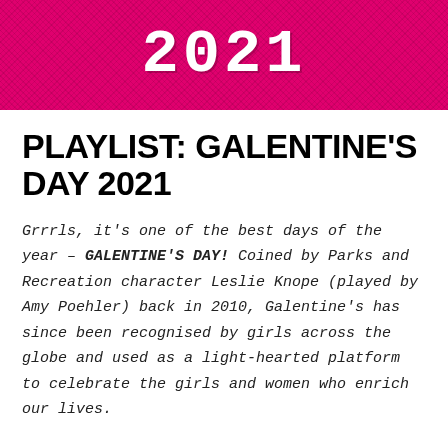[Figure (illustration): Hot pink textured banner background with the year '2021' in bold white monospace font centered in the banner.]
PLAYLIST: GALENTINE'S DAY 2021
Grrrls, it's one of the best days of the year – GALENTINE'S DAY! Coined by Parks and Recreation character Leslie Knope (played by Amy Poehler) back in 2010, Galentine's has since been recognised by girls across the globe and used as a light-hearted platform to celebrate the girls and women who enrich our lives.